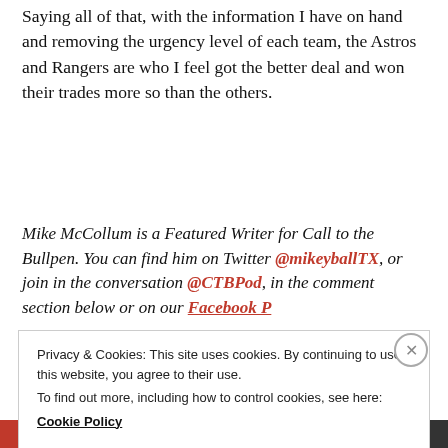Saying all of that, with the information I have on hand and removing the urgency level of each team, the Astros and Rangers are who I feel got the better deal and won their trades more so than the others.
Mike McCollum is a Featured Writer for Call to the Bullpen. You can find him on Twitter @mikeyballTX, or join in the conversation @CTBPod, in the comment section below or on our Facebook P...
Privacy & Cookies: This site uses cookies. By continuing to use this website, you agree to their use.
To find out more, including how to control cookies, see here:
Cookie Policy
Close and accept